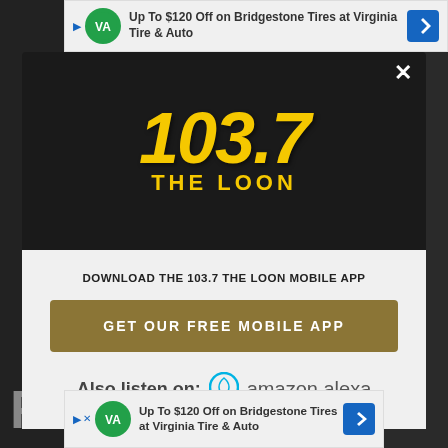[Figure (screenshot): Screenshot of a website with a modal popup for 103.7 The Loon radio station mobile app download prompt, with Amazon Alexa integration note and advertisement banners.]
Up To $120 Off on Bridgestone Tires at Virginia Tire & Auto
[Figure (logo): 103.7 THE LOON radio station logo in yellow/gold italic text on dark background]
DOWNLOAD THE 103.7 THE LOON MOBILE APP
GET OUR FREE MOBILE APP
Also listen on:  amazon alexa
Up To $120 Off on Bridgestone Tires at Virginia Tire & Auto